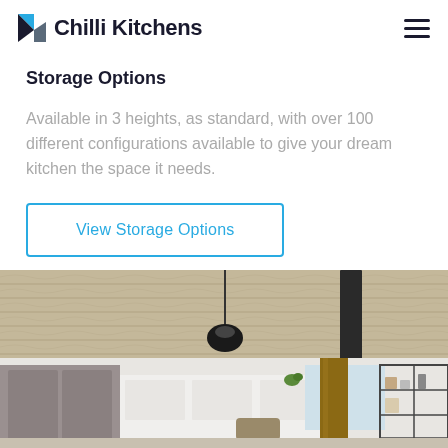Chilli Kitchens
Storage Options
Available in 3 heights, as standard, with over 100 different configurations available to give your dream kitchen the space it needs.
View Storage Options
[Figure (photo): Interior kitchen photo showing a room with wooden ceiling beams, a pendant light, white cabinetry, a wooden post/pillar, and metal shelving unit on the right side]